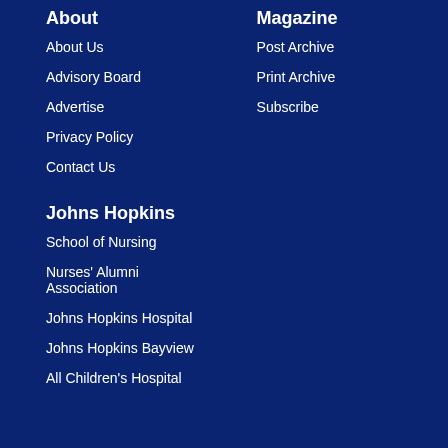About
About Us
Advisory Board
Advertise
Privacy Policy
Contact Us
Magazine
Post Archive
Print Archive
Subscribe
Johns Hopkins
School of Nursing
Nurses' Alumni Association
Johns Hopkins Hospital
Johns Hopkins Bayview
All Children's Hospital